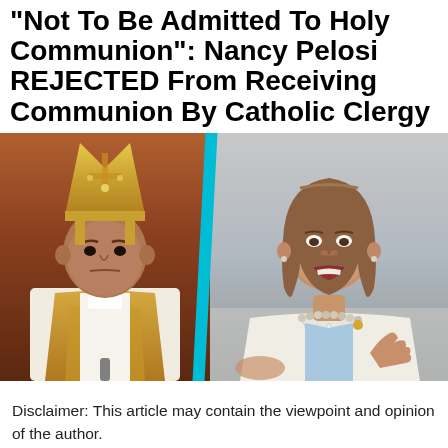"Not To Be Admitted To Holy Communion": Nancy Pelosi REJECTED From Receiving Communion By Catholic Clergy
[Figure (photo): Split composite image: on the left, a Catholic bishop or archbishop wearing white vestments and a gold-decorated mitre, looking stern. On the right, Nancy Pelosi in a white blazer and pearl necklace, gesturing with her hand. A cyan/teal diagonal dividing line separates the two images.]
Disclaimer: This article may contain the viewpoint and opinion of the author.